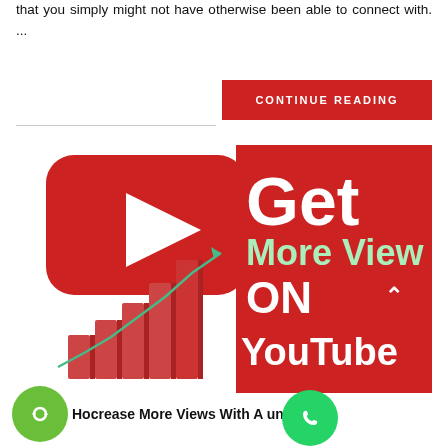that you simply might not have otherwise been able to connect with. ...
[Figure (screenshot): Red 'CONTINUE READING' button]
[Figure (illustration): Composite image showing YouTube logo with play button, a bar chart with rising green trend line, and a red panel reading 'Get More Views ON YouTube']
Ho...crease More Views With A uni...e